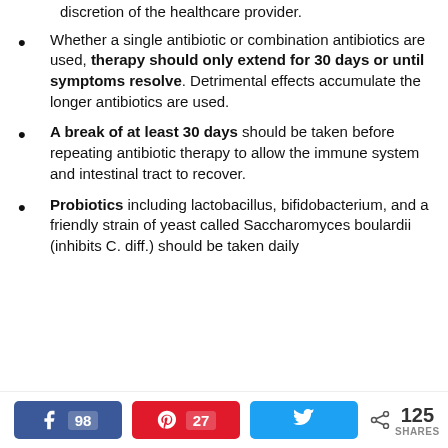discretion of the healthcare provider.
Whether a single antibiotic or combination antibiotics are used, therapy should only extend for 30 days or until symptoms resolve. Detrimental effects accumulate the longer antibiotics are used.
A break of at least 30 days should be taken before repeating antibiotic therapy to allow the immune system and intestinal tract to recover.
Probiotics including lactobacillus, bifidobacterium, and a friendly strain of yeast called Saccharomyces boulardii (inhibits C. diff.) should be taken daily
98 shares (Facebook), 27 (Pinterest), Twitter share, 125 SHARES total